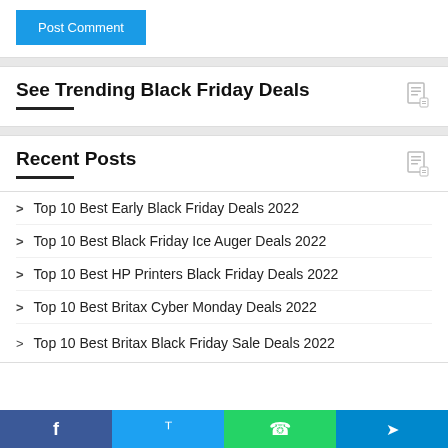Post Comment
See Trending Black Friday Deals
Recent Posts
Top 10 Best Early Black Friday Deals 2022
Top 10 Best Black Friday Ice Auger Deals 2022
Top 10 Best HP Printers Black Friday Deals 2022
Top 10 Best Britax Cyber Monday Deals 2022
Top 10 Best Britax Black Friday Sale Deals 2022